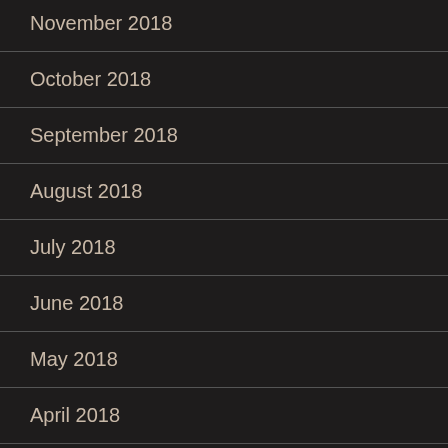November 2018
October 2018
September 2018
August 2018
July 2018
June 2018
May 2018
April 2018
March 2018